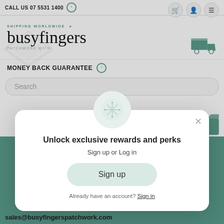CALL US 07 5531 1400
[Figure (logo): Busy Fingers patchwork logo with cursive script text and diamond geometric background]
SHIPPING WORLDWIDE
MONEY BACK GUARANTEE
[Figure (screenshot): Search bar with placeholder text 'Search']
[Figure (infographic): Loyalty rewards modal popup with sparkle icon, title 'Unlock exclusive rewards and perks', Sign up or Log in text, Sign up button, and already have an account Sign in link]
sales@busyfingerspatchwork.com